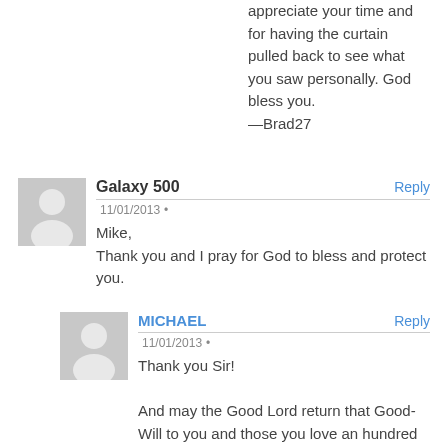appreciate your time and for having the curtain pulled back to see what you saw personally. God bless you. —Brad27
Galaxy 500
11/01/2013
Mike,
Thank you and I pray for God to bless and protect you.
MICHAEL
11/01/2013
Thank you Sir!
And may the Good Lord return that Good-Will to you and those you love an hundred fold!